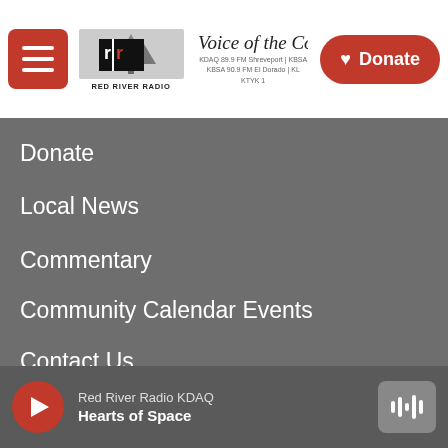Red River Radio — Voice of the Community — KDAQ 89.9 FM Shreveport | KBSA 90.9 FM El Dorado | KTYK — Donate
Donate
Local News
Commentary
Community Calendar Events
Contact Us
Underwrite Red River Radio
Our Team
Community Advisory Board
Red River Radio KDAQ — Hearts of Space